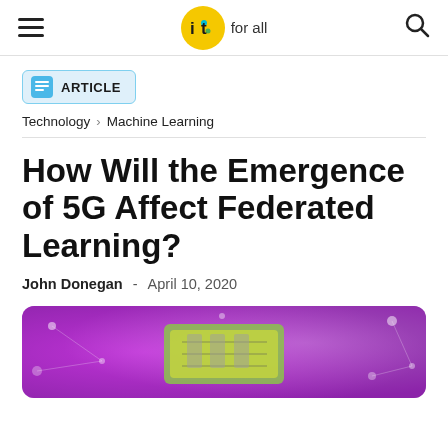IoT For All
ARTICLE
Technology > Machine Learning
How Will the Emergence of 5G Affect Federated Learning?
John Donegan - April 10, 2020
[Figure (illustration): Colorful magenta/purple abstract technology background image with network nodes and glowing lights, featuring a green-bordered chip or circuit board element in the center.]